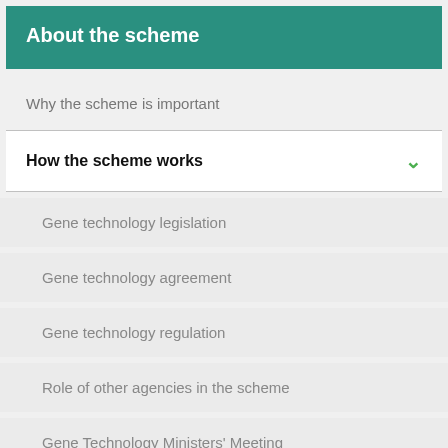About the scheme
Why the scheme is important
How the scheme works
Gene technology legislation
Gene technology agreement
Gene technology regulation
Role of other agencies in the scheme
Gene Technology Ministers' Meeting
Gene Technology Standing Committee